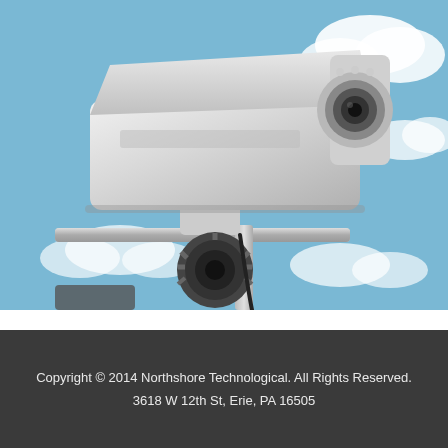[Figure (photo): Close-up photograph of a white outdoor security/CCTV surveillance camera mounted on a pole against a blue sky with white clouds. A second smaller sensor/camera is visible below the main unit.]
Copyright © 2014 Northshore Technological. All Rights Reserved.
3618 W 12th St, Erie, PA 16505